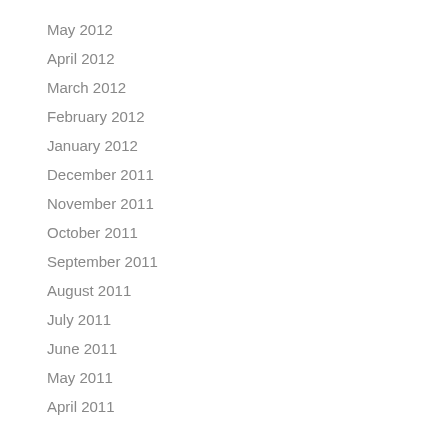June 2012
May 2012
April 2012
March 2012
February 2012
January 2012
December 2011
November 2011
October 2011
September 2011
August 2011
July 2011
June 2011
May 2011
April 2011